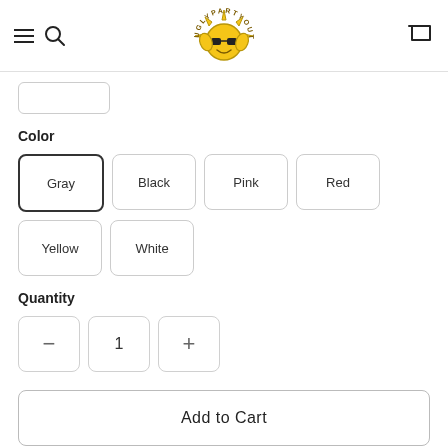Ugly Party Outfit — navigation header with hamburger menu, search, logo, and cart
[Figure (logo): Ugly Party Outfit logo: yellow cartoon sun character wearing sunglasses, text arched around it reading UGLYPARTYOUTFIT]
Color
Gray | Black | Pink | Red | Yellow | White — color selector buttons
Quantity
Quantity selector: minus, 1, plus
Add to Cart